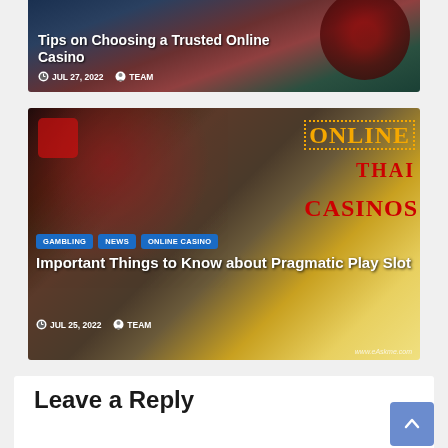[Figure (screenshot): Article card with casino roulette background image showing title 'Tips on Choosing a Trusted Online Casino' with date JUL 27, 2022 and author TEAM]
Tips on Choosing a Trusted Online Casino
JUL 27, 2022  TEAM
[Figure (photo): Article card showing two women with casino theme. Tags: GAMBLING, NEWS, ONLINE CASINO. Title: Important Things to Know about Pragmatic Play Slot. Date: JUL 25, 2022, Author: TEAM. Background includes ONLINE THAI CASINOS text and www.eAskme.com credit.]
GAMBLING  NEWS  ONLINE CASINO
Important Things to Know about Pragmatic Play Slot
JUL 25, 2022  TEAM
Leave a Reply